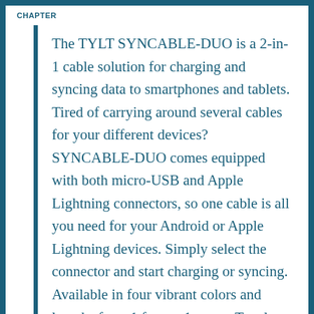CHAPTER
The TYLT SYNCABLE-DUO is a 2-in-1 cable solution for charging and syncing data to smartphones and tablets. Tired of carrying around several cables for your different devices? SYNCABLE-DUO comes equipped with both micro-USB and Apple Lightning connectors, so one cable is all you need for your Android or Apple Lightning devices. Simply select the connector and start charging or syncing. Available in four vibrant colors and lengths from 1 foot to 1 meter. Tangle-free flat cable